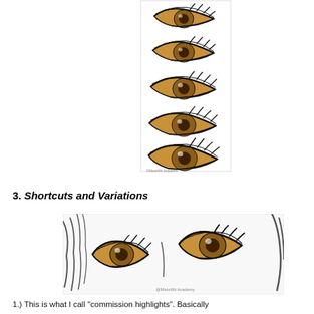[Figure (illustration): Vertical strip showing 5 progressive steps of an anime-style eye being drawn and colored with brown iris, black lashes and eyelid lines. Watermark reads 'MistsWit Academy' at bottom.]
3. Shortcuts and Variations
[Figure (illustration): Close-up illustration of two anime-style eyes on a face, with brown irises, heavy black lash lines, and surrounding facial lines/hair strands. Watermark reads '@MistsWit Academy' at bottom right.]
1.) This is what I call "commission highlights". Basically